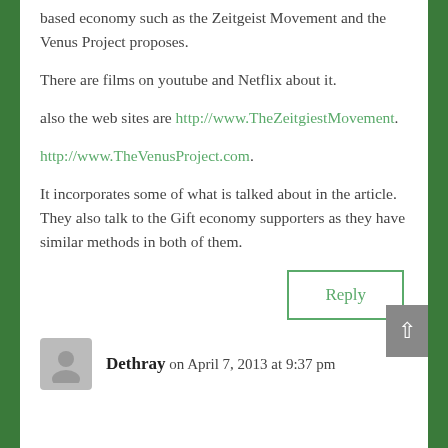based economy such as the Zeitgeist Movement and the Venus Project proposes.
There are films on youtube and Netflix about it.
also the web sites are http://www.TheZeitgiestMovement.
http://www.TheVenusProject.com.
It incorporates some of what is talked about in the article. They also talk to the Gift economy supporters as they have similar methods in both of them.
Reply
Dethray on April 7, 2013 at 9:37 pm